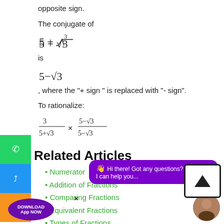opposite sign.
The conjugate of
is
, where the "+ sign " is replaced with "- sign".
To rationalize:
Related Articles
Numerator
Addition of Fractions
Comparing Fractions
Equivalent Fractions
Types of Fractions